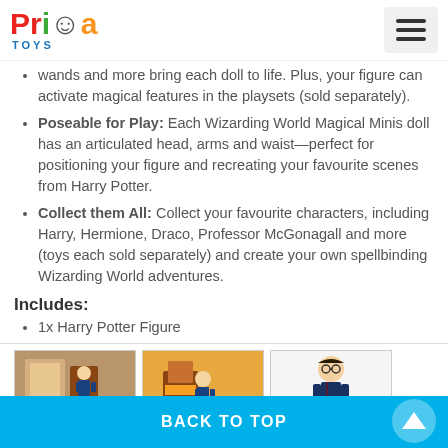Prima Toys
wands and more bring each doll to life. Plus, your figure can activate magical features in the playsets (sold separately).
Poseable for Play: Each Wizarding World Magical Minis doll has an articulated head, arms and waist—perfect for positioning your figure and recreating your favourite scenes from Harry Potter.
Collect them All: Collect your favourite characters, including Harry, Hermione, Draco, Professor McGonagall and more (toys each sold separately) and create your own spellbinding Wizarding World adventures.
Includes:
1x Harry Potter Figure
[Figure (photo): Three thumbnail images of Harry Potter Wizarding World Magical Minis figure product photos]
BACK TO TOP